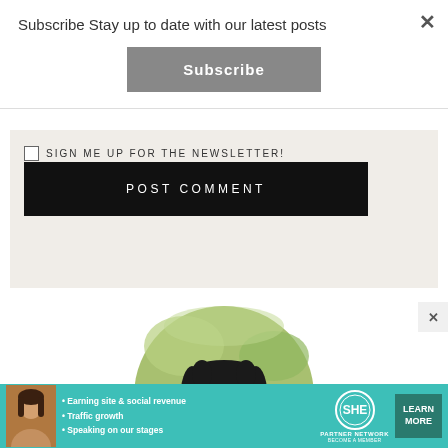Subscribe Stay up to date with our latest posts
Subscribe
SIGN ME UP FOR THE NEWSLETTER!
POST COMMENT
[Figure (photo): Circular profile photo of a smiling Black woman with braided hair and glasses, wearing a pink spaghetti-strap top, photographed outdoors with green foliage background]
[Figure (infographic): Teal advertisement banner for SHE Partner Network with bullet points: Earning site & social revenue, Traffic growth, Speaking on our stages. Includes SHE logo and Learn More button.]